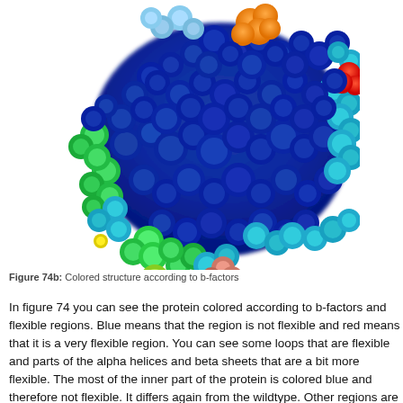[Figure (illustration): 3D molecular surface rendering of a protein colored according to b-factors. The structure is predominantly deep blue (rigid/inflexible regions), with patches of cyan, teal, green, yellow-green, orange, and red indicating increasingly flexible regions. The image shows a large globular protein complex rendered as space-filling spheres.]
Figure 74b: Colored structure according to b-factors
In figure 74 you can see the protein colored according to b-factors and flexible regions. Blue means that the region is not flexible and red means that it is a very flexible region. You can see some loops that are flexible and parts of the alpha helices and beta sheets that are a bit more flexible. The most of the inner part of the protein is colored blue and therefore not flexible. It differs again from the wildtype. Other regions are colored red and therefore the most flexible and also the flexibility of the alpha helices and the beta sheets differ...